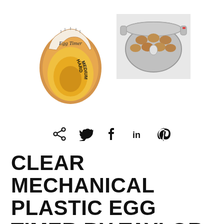[Figure (photo): Egg-shaped color-changing plastic egg timer device with 'Egg Timer' text at top and zones labeled HARD and MEDIUM in yellow/brown gradient]
[Figure (photo): Overhead view of a pot of boiling water with multiple brown eggs inside, photographed from above on a light surface]
[Figure (infographic): Social media sharing icons: share, Twitter bird, Facebook f, LinkedIn in, Pinterest P]
CLEAR MECHANICAL PLASTIC EGG TIMER BY TAYLOR